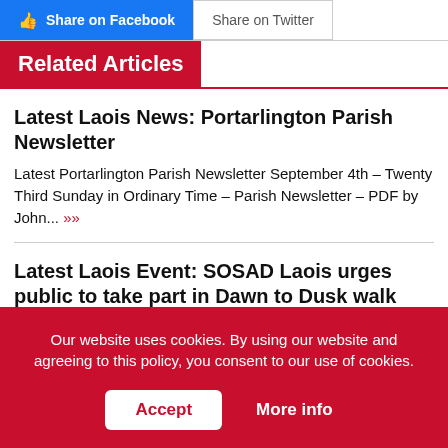[Figure (other): Social share buttons: Share on Facebook (blue with thumbs up icon) and Share on Twitter (white with border)]
Related Articles
Latest Laois News: Portarlington Parish Newsletter
Latest Portarlington Parish Newsletter September 4th – Twenty Third Sunday in Ordinary Time – Parish Newsletter – PDF by John... »»
Latest Laois Event: SOSAD Laois urges public to take part in Dawn to Dusk walk fundraiser
Our website uses cookies. By using our website and agreeing to this policy, you consent to our use of cookies.